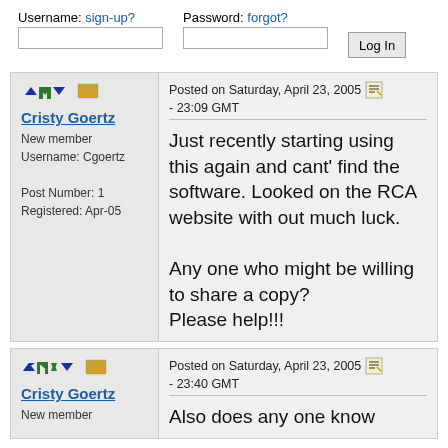Username: sign-up?   Password: forgot?   [Log In]
[Figure (screenshot): Forum post by Cristy Goertz. Posted on Saturday, April 23, 2005 - 23:09 GMT. Text: Just recently starting using this again and cant' find the software. Looked on the RCA website with out much luck. Any one who might be willing to share a copy? Please help!!!]
[Figure (screenshot): Second forum post by Cristy Goertz. Posted on Saturday, April 23, 2005 - 23:40 GMT. Text begins: Also does any one know]